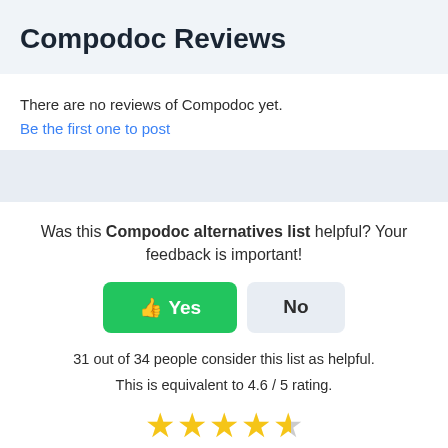Compodoc Reviews
There are no reviews of Compodoc yet.
Be the first one to post
Was this Compodoc alternatives list helpful? Your feedback is important!
31 out of 34 people consider this list as helpful.
This is equivalent to 4.6 / 5 rating.